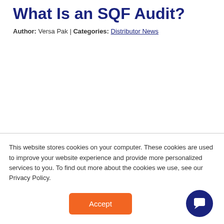What Is an SQF Audit?
Author: Versa Pak | Categories: Distributor News
This website stores cookies on your computer. These cookies are used to improve your website experience and provide more personalized services to you. To find out more about the cookies we use, see our Privacy Policy.